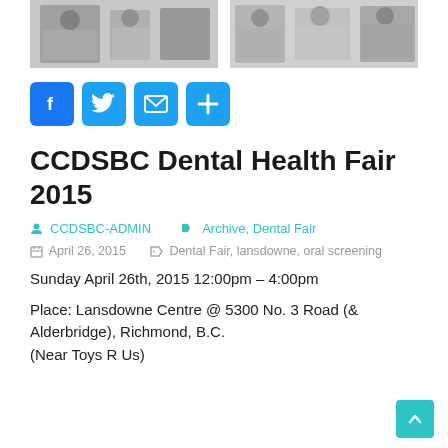[Figure (photo): Two black and white photos side by side showing people at a dental/health fair event]
[Figure (infographic): Social sharing buttons: Facebook (blue), Twitter (blue), Email (blue), Plus/More (blue)]
CCDSBC Dental Health Fair 2015
CCDSBC-ADMIN   Archive, Dental Fair
April 26, 2015   Dental Fair, lansdowne, oral screening
Sunday April 26th, 2015 12:00pm – 4:00pm
Place: Lansdowne Centre @ 5300 No. 3 Road (& Alderbridge), Richmond, B.C.
(Near Toys R Us)